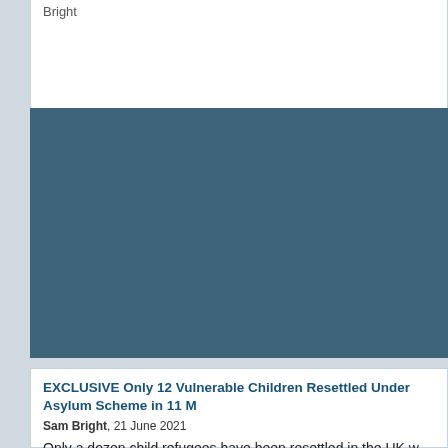Bright
[Figure (photo): Large dark teal/slate blue rectangle representing a placeholder image area]
EXCLUSIVE Only 12 Vulnerable Children Resettled Under Asylum Scheme in 11 M
Sam Bright, 21 June 2021
Only a dozen child refugees have been resettled in the UK w... as they add, reports Sam Bright...